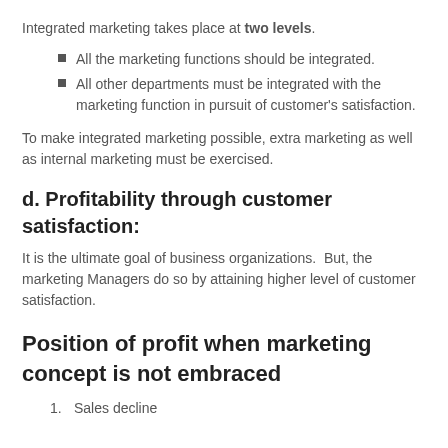Integrated marketing takes place at two levels.
All the marketing functions should be integrated.
All other departments must be integrated with the marketing function in pursuit of customer's satisfaction.
To make integrated marketing possible, extra marketing as well as internal marketing must be exercised.
d. Profitability through customer satisfaction:
It is the ultimate goal of business organizations.  But, the marketing Managers do so by attaining higher level of customer satisfaction.
Position of profit when marketing concept is not embraced
Sales decline